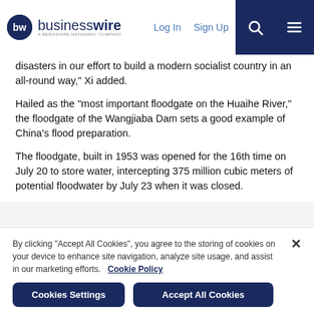businesswire — A BERKSHIRE HATHAWAY COMPANY | Log In | Sign Up
disasters in our effort to build a modern socialist country in an all-round way," Xi added.
Hailed as the "most important floodgate on the Huaihe River," the floodgate of the Wangjiaba Dam sets a good example of China's flood preparation.
The floodgate, built in 1953 was opened for the 16th time on July 20 to store water, intercepting 375 million cubic meters of potential floodwater by July 23 when it was closed.
By clicking "Accept All Cookies", you agree to the storing of cookies on your device to enhance site navigation, analyze site usage, and assist in our marketing efforts.   Cookie Policy
Cookies Settings | Accept All Cookies